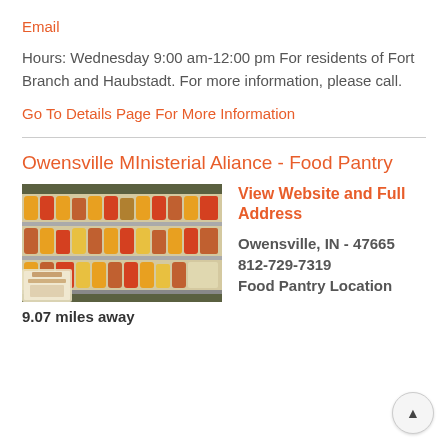Email
Hours: Wednesday 9:00 am-12:00 pm For residents of Fort Branch and Haubstadt. For more information, please call.
Go To Details Page For More Information
Owensville MInisterial Aliance - Food Pantry
[Figure (photo): Interior of a food pantry showing shelves stocked with canned goods and packaged food items]
View Website and Full Address
Owensville, IN - 47665
812-729-7319
Food Pantry Location
9.07 miles away